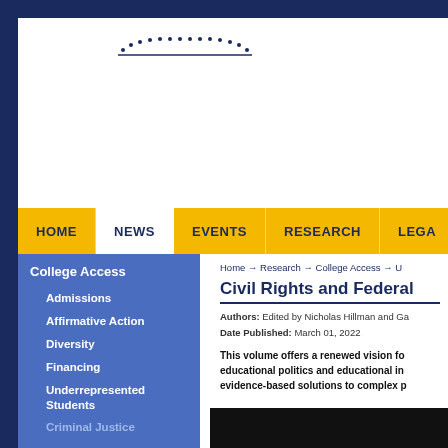HOME | NEWS | EVENTS | RESEARCH | LEGA
College Access
Admissions
Affirmative Action
Diversity
Financing
Underrepresented Students
Criminal Justice
Home → Research → College Access → U
Civil Rights and Federal
Authors: Edited by Nicholas Hillman and Ga
Date Published: March 01, 2022
This volume offers a renewed vision fo educational politics and educational in evidence-based solutions to complex p
[Figure (photo): Black image/photo placeholder at the bottom of the main content area]